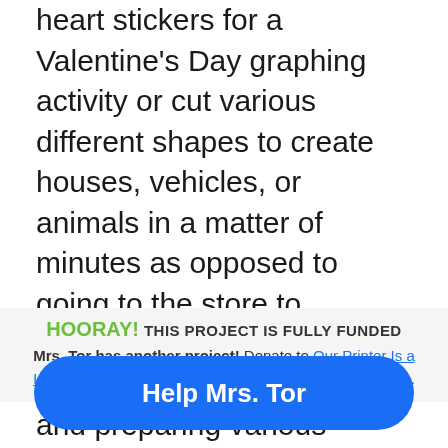heart stickers for a Valentine's Day graphing activity or cut various different shapes to create houses, vehicles, or animals in a matter of minutes as opposed to going to the store to purchase heart stickers or spend hours hand cutting and preparing various shapes for our craftivity.)
One project that I know the children will love is personalizing their very own Field Day shirts!
HOORAY! THIS PROJECT IS FULLY FUNDED
Mrs. Tor has another project! Donate to Our Printer Is a Loner Because We're Out of Toner to help her classroom.
Help Mrs. Tor